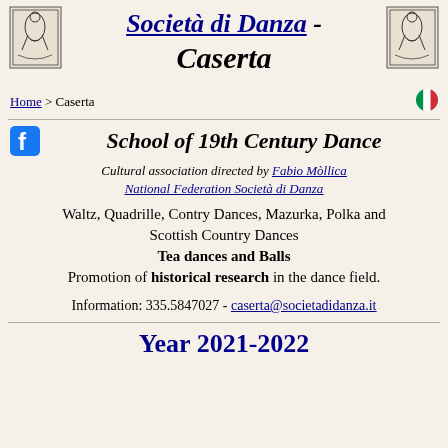Società di Danza - Caserta
Home > Caserta
School of 19th Century Dance
Cultural association directed by Fabio Mòllica
National Federation Società di Danza
Waltz, Quadrille, Contry Dances, Mazurka, Polka and Scottish Country Dances
Tea dances and Balls
Promotion of historical research in the dance field.
Information: 335.5847027 - caserta@societadidanza.it
Year 2021-2022